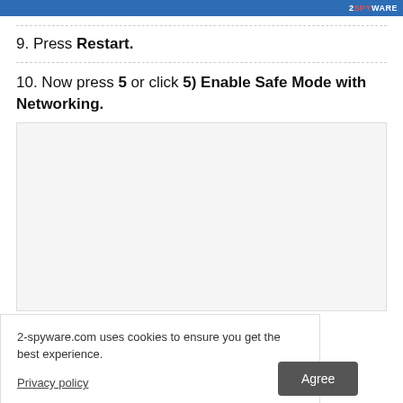2SPYWARE
9. Press Restart.
10. Now press 5 or click 5) Enable Safe Mode with Networking.
[Figure (screenshot): Screenshot showing Windows boot options Safe Mode menu]
2-spyware.com uses cookies to ensure you get the best experience.
Privacy policy
Agree